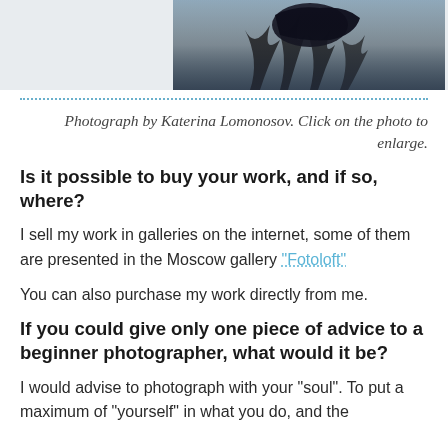[Figure (photo): Partial photograph showing a dark bird or animal silhouette against a cloudy sky with bare tree branches]
Photograph by Katerina Lomonosov. Click on the photo to enlarge.
Is it possible to buy your work, and if so, where?
I sell my work in galleries on the internet, some of them are presented in the Moscow gallery “Fotoloft”
You can also purchase my work directly from me.
If you could give only one piece of advice to a beginner photographer, what would it be?
I would advise to photograph with your “soul”. To put a maximum of “yourself” in what you do, and the